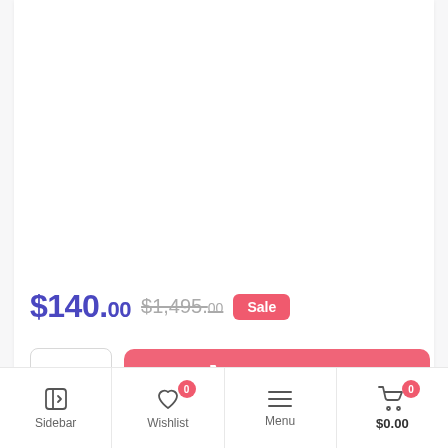[Figure (screenshot): Blank white product image area]
$140.00 $1,495.00 Sale
1  Add to cart
Sidebar | Wishlist 0 | Menu | $0.00 0